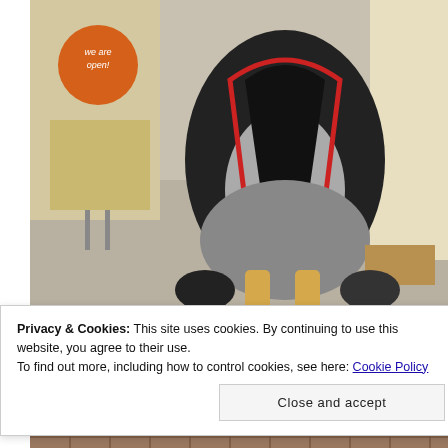[Figure (photo): A decorative penguin statue/figure dressed in a black and red outfit with yellow feet and beak-like shoes, standing on a sidewalk outside a shop with a 'we are open!' sign visible in the background.]
Privacy & Cookies: This site uses cookies. By continuing to use this website, you agree to their use.
To find out more, including how to control cookies, see here: Cookie Policy
[Figure (photo): Partial view of the bottom of the page showing a close-up ground-level image, possibly a grate or textured surface.]